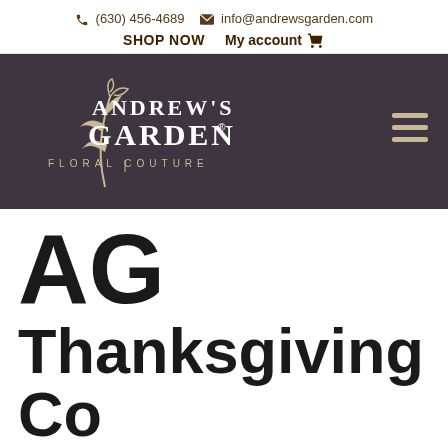(630) 456-4689  info@andrewsgarden.com  SHOP NOW  My account
[Figure (logo): Andrew's Garden Floral Couture logo with decorative floral script on dark background, with hamburger menu icon on the right]
AG Thanksgiving Collection